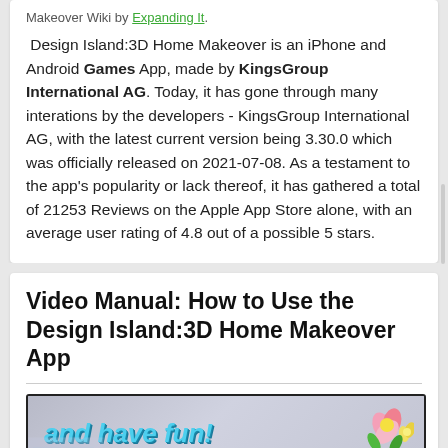Makeover Wiki by Expanding It.
Design Island:3D Home Makeover is an iPhone and Android Games App, made by KingsGroup International AG. Today, it has gone through many interations by the developers - KingsGroup International AG, with the latest current version being 3.30.0 which was officially released on 2021-07-08. As a testament to the app's popularity or lack thereof, it has gathered a total of 21253 Reviews on the Apple App Store alone, with an average user rating of 4.8 out of a possible 5 stars.
Video Manual: How to Use the Design Island:3D Home Makeover App
[Figure (screenshot): Video thumbnail showing game screenshot with text 'and have fun!' in blue italic font, decorative flowers in top right, green foliage, food items, and a character silhouette at the bottom.]